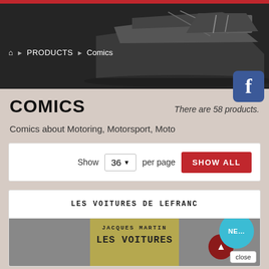[Figure (screenshot): Website header banner with dark background showing a car/vehicle detail image and a red top bar]
PRODUCTS > Comics
COMICS
There are 58 products.
Comics about Motoring, Motorsport, Moto
Show 36 per page SHOW ALL
LES VOITURES DE LEFRANC
JACQUES MARTIN
LES VOITURES